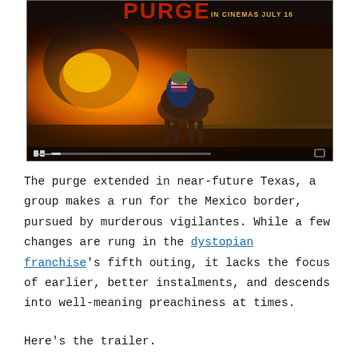[Figure (photo): Movie poster/trailer thumbnail for The First Purge showing a soldier on horseback in front of an explosion with text 'IN CINEMAS JULY 16' in the top right corner. A video player control bar is visible at the bottom.]
The purge extended in near-future Texas, a group makes a run for the Mexico border, pursued by murderous vigilantes. While a few changes are rung in the dystopian franchise's fifth outing, it lacks the focus of earlier, better instalments, and descends into well-meaning preachiness at times.
Here's the trailer.